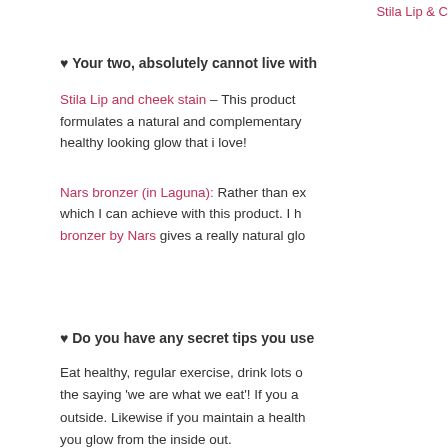Stila Lip & C
♥ Your two, absolutely cannot live with
Stila Lip and cheek stain – This product formulates a natural and complementary healthy looking glow that i love!
Nars bronzer (in Laguna): Rather than ex which I can achieve with this product. I h bronzer by Nars gives a really natural glo
♥ Do you have any secret tips you use
Eat healthy, regular exercise, drink lots o the saying 'we are what we eat'! If you a outside. Likewise if you maintain a health you glow from the inside out.